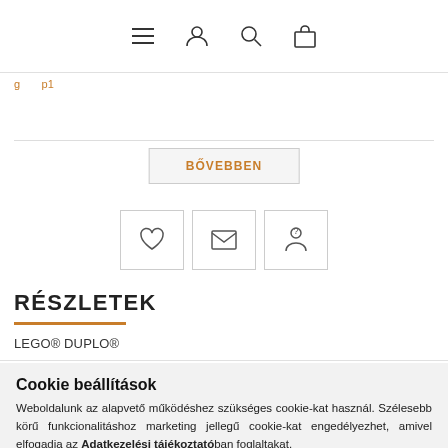Navigation bar with menu, user, search, and cart icons
BŐVEBBEN
[Figure (other): Three icon buttons: heart (wishlist), envelope (email), question mark (help)]
RÉSZLETEK
LEGO® DUPLO®
Cookie beállítások
Weboldalunk az alapvető működéshez szükséges cookie-kat használ. Szélesebb körű funkcionalitáshoz marketing jellegű cookie-kat engedélyezhet, amivel elfogadja az Adatkezelési tájékoztatóban foglaltakat.
Nem engedélyezem | ENGEDÉLYEZEM